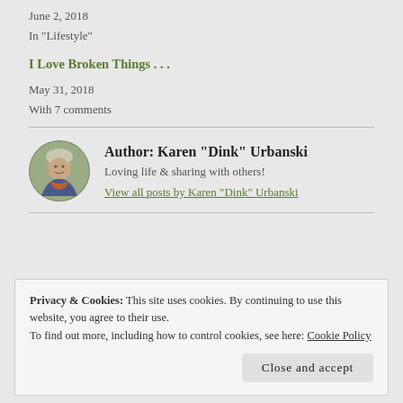June 2, 2018
In "Lifestyle"
I Love Broken Things . . .
May 31, 2018
With 7 comments
[Figure (photo): Circular avatar photo of Karen Dink Urbanski, a person wearing a blue jacket and colorful scarf outdoors]
Author: Karen "Dink" Urbanski
Loving life & sharing with others!
View all posts by Karen "Dink" Urbanski
Privacy & Cookies: This site uses cookies. By continuing to use this website, you agree to their use.
To find out more, including how to control cookies, see here: Cookie Policy
Close and accept